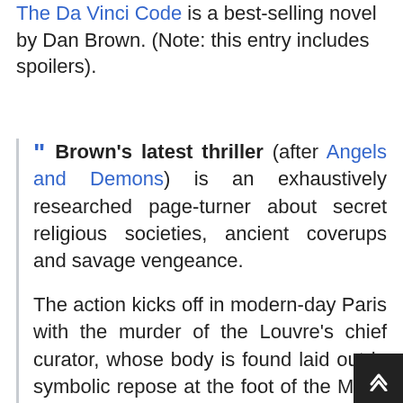The Da Vinci Code is a best-selling novel by Dan Brown. (Note: this entry includes spoilers).
" Brown's latest thriller (after Angels and Demons) is an exhaustively researched page-turner about secret religious societies, ancient coverups and savage vengeance.

The action kicks off in modern-day Paris with the murder of the Louvre's chief curator, whose body is found laid out in symbolic repose at the foot of the Mona Lisa. Seizing control of the case are Sophie Neveu, a lovely French police cryptologist, and Harvard symbol expert Robert Langdon, reprising his role from Brown's last book. The two find several puzzling codes at the murder scene, all of which form a treasu...